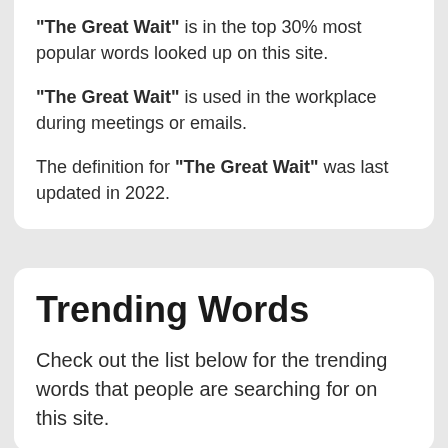"The Great Wait" is in the top 30% most popular words looked up on this site.
"The Great Wait" is used in the workplace during meetings or emails.
The definition for "The Great Wait" was last updated in 2022.
Trending Words
Check out the list below for the trending words that people are searching for on this site.